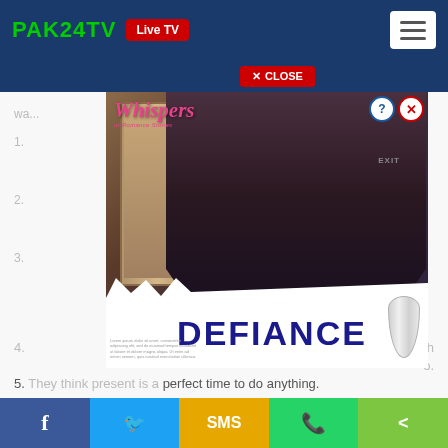PAK24TV  Live TV
CLOSE
[Figure (illustration): Advertisement overlay showing Whispers romance stories app with 'DEFIANCE' text on a torn newspaper effect, featuring a couple in an embrace on the cover image. Blue question mark and X close controls at top right.]
5. They think present is a perfect time to do anything.
Social sharing buttons: Facebook, Twitter, SMS, WhatsApp, Share